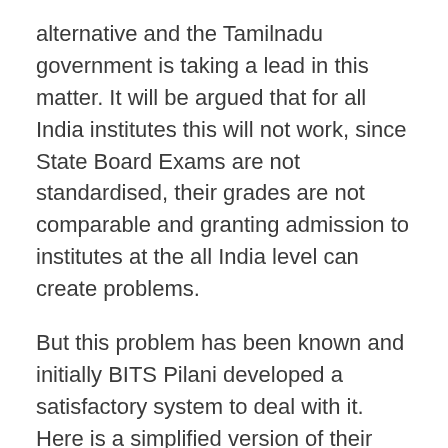alternative and the Tamilnadu government is taking a lead in this matter. It will be argued that for all India institutes this will not work, since State Board Exams are not standardised, their grades are not comparable and granting admission to institutes at the all India level can create problems.
But this problem has been known and initially BITS Pilani developed a satisfactory system to deal with it. Here is a simplified version of their method. Assuming that the topper in each state board scores 100% marks in PCM (physics, chemistry and mathematics), so, if the topper in the state A scores 97% marks, they add 3% marks to all the applicants from that state. If the topper in state B scores 89% marks, they